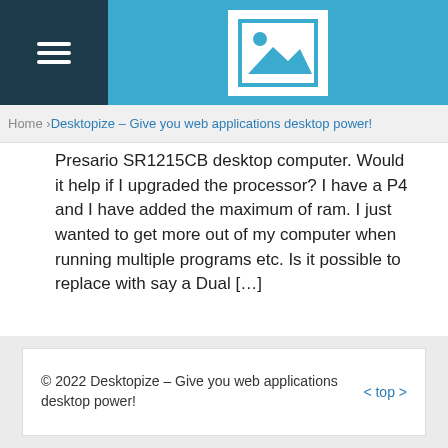[Figure (logo): Website header with dark navy hamburger menu on left and image placeholder logo in center on blue background]
Home › Desktopize – Give you web applications desktop power!
Presario SR1215CB desktop computer. Would it help if I upgraded the processor? I have a P4 and I have added the maximum of ram. I just wanted to get more out of my computer when running multiple programs etc. Is it possible to replace with say a Dual […]
Next Page »
© 2022 Desktopize – Give you web applications desktop power!   < top >